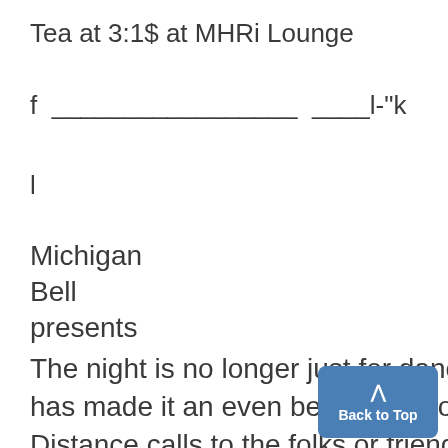Tea at 3:1$ at MHRi Lounge
f _________________ ____l-"k
l
Michigan
Bell
presents
The night is no longer just for dancing. Michigan Bell has made it an even better time to make those Long Distance calls to the folks or friends far away